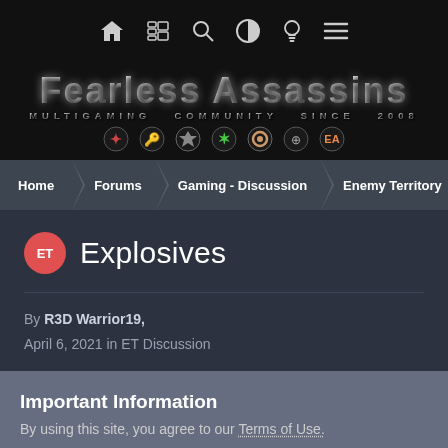[Figure (screenshot): Top navigation bar with icons: home, news/grid, search, contrast, lightbulb, menu/hamburger on black background]
[Figure (logo): Fearless Assassins Multigaming Community Since 2008 logo with game icons on black background]
Home > Forums > Gaming - Discussion > Enemy Territory > ET Dis...
Explosives
By R3D Warrior19, April 6, 2021 in ET Discussion
Important Information
By using this site, you agree to our Terms of Use.
✓  I accept